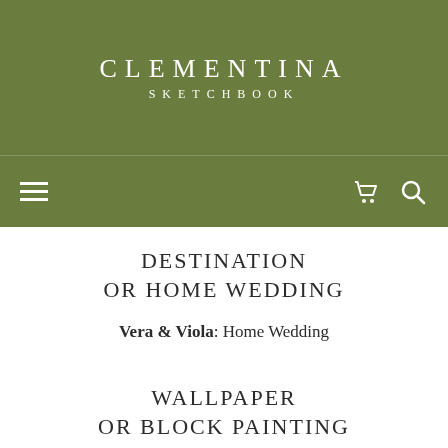CLEMENTINA SKETCHBOOK
DESTINATION OR HOME WEDDING
Vera & Viola: Home Wedding
WALLPAPER OR BLOCK PAINTING
Vera & Viola: Both! Mixed!
TOP 3 ON YOUR BUCKET LIST
Vera: